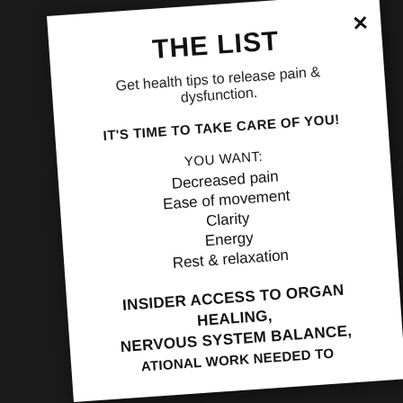THE LIST
Get health tips to release pain & dysfunction.
IT'S TIME TO TAKE CARE OF YOU!
YOU WANT:
Decreased pain
Ease of movement
Clarity
Energy
Rest & relaxation
INSIDER ACCESS TO ORGAN HEALING, NERVOUS SYSTEM BALANCE, FOUNDATIONAL WORK NEEDED TO